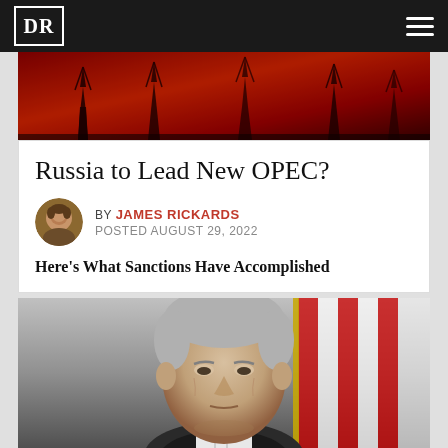DR
[Figure (photo): Red-tinted photo of oil derrick silhouettes against a dark red sky]
Russia to Lead New OPEC?
BY JAMES RICKARDS
POSTED AUGUST 29, 2022
Here's What Sanctions Have Accomplished
[Figure (photo): Close-up photo of Federal Reserve Chairman Jerome Powell with an American flag in the background]